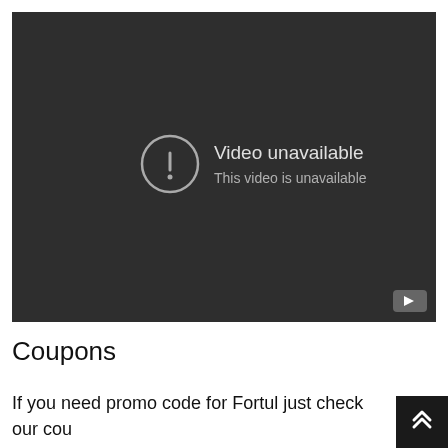[Figure (screenshot): An embedded video player showing a dark background with a YouTube 'Video unavailable' error message in the center. The message includes a circle with an exclamation mark icon, the text 'Video unavailable' in large text, and 'This video is unavailable' in smaller text below. A YouTube logo button is visible in the bottom-right corner of the player.]
Coupons
If you need promo code for Fortul just check our cou page. You can get first free ride or save money on drive.